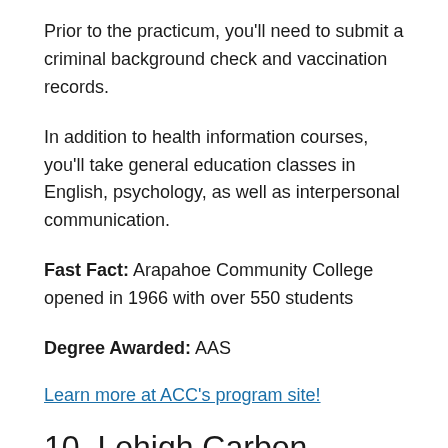Prior to the practicum, you'll need to submit a criminal background check and vaccination records.
In addition to health information courses, you'll take general education classes in English, psychology, as well as interpersonal communication.
Fast Fact: Arapahoe Community College opened in 1966 with over 550 students
Degree Awarded: AAS
Learn more at ACC's program site!
10. Lehigh Carbon Community College